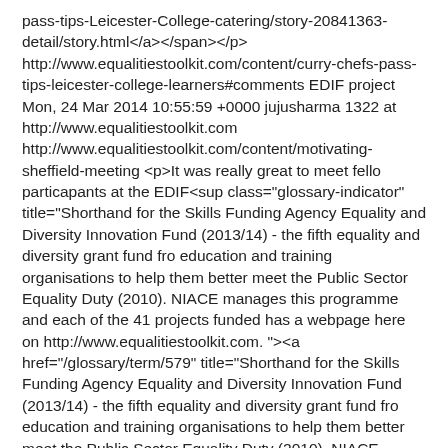pass-tips-Leicester-College-catering/story-20841363-detail/story.html</a></span></p> http://www.equalitiestoolkit.com/content/curry-chefs-pass-tips-leicester-college-learners#comments EDIF project Mon, 24 Mar 2014 10:55:59 +0000 jujusharma 1322 at http://www.equalitiestoolkit.com http://www.equalitiestoolkit.com/content/motivating-sheffield-meeting <p>It was really great to meet fello particapants at the EDIF<sup class="glossary-indicator" title="Shorthand for the Skills Funding Agency Equality and Diversity Innovation Fund (2013/14) - the fifth equality and diversity grant fund fro education and training organisations to help them better meet the Public Sector Equality Duty (2010). NIACE manages this programme and each of the 41 projects funded has a webpage here on http://www.equalitiestoolkit.com. "><a href="/glossary/term/579" title="Shorthand for the Skills Funding Agency Equality and Diversity Innovation Fund (2013/14) - the fifth equality and diversity grant fund fro education and training organisations to help them better meet the Public Sector Equality Duty (2010). NIACE manages this programme and each of the 41 projects funded has a webpage here on http://www.equalitiestoolkit.com. " class="glossary-indicator">definition</a></sup> project meet in Sheffield last Wednesday. I felt like I made some real connections with people from other projects. Of great interest to me was the project being run at North College by Louise around embeding